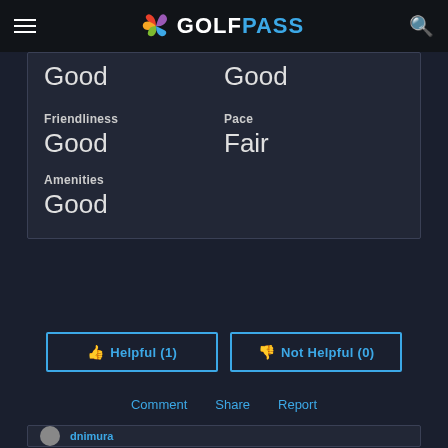GOLFPASS
Good
Good
Friendliness
Pace
Good
Fair
Amenities
Good
Helpful (1)
Not Helpful (0)
Comment   Share   Report
dnimura
Played On 10/16/2014